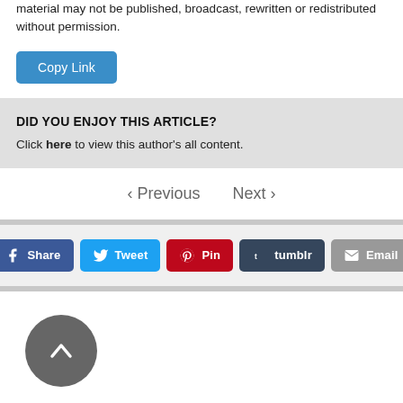material may not be published, broadcast, rewritten or redistributed without permission.
[Figure (other): Blue 'Copy Link' button]
DID YOU ENJOY THIS ARTICLE? Click here to view this author's all content.
‹ Previous   Next ›
[Figure (other): Social share buttons: Share, Tweet, Pin, tumblr, Email]
[Figure (other): Scroll-to-top button: dark grey circle with upward chevron arrow]